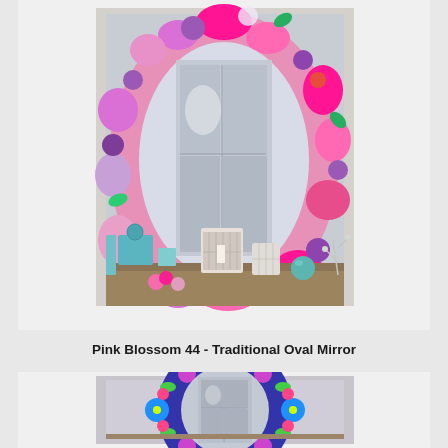[Figure (photo): Oval decorative mirror with pink and purple floral pattern frame, displayed against a light wall with decorative items on a shelf below]
Pink Blossom 44 - Traditional Oval Mirror
[Figure (photo): Round decorative mirror with colorful folk art floral pattern on dark purple/navy background, partially visible]